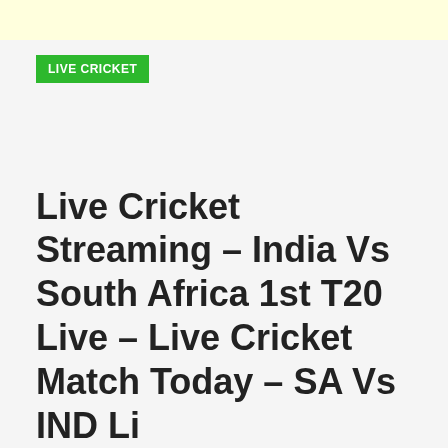LIVE CRICKET
Live Cricket Streaming – India Vs South Africa 1st T20 Live – Live Cricket Match Today – SA Vs IND Li…